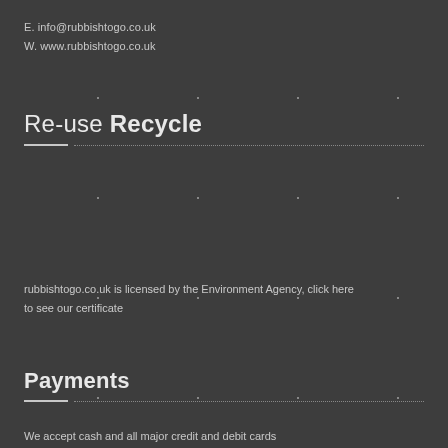E. info@rubbishtogo.co.uk
W. www.rubbishtogo.co.uk
Re-use Recycle
rubbishtogo.co.uk is licensed by the Environment Agency, click here to see our certificate
Payments
We accept cash and all major credit and debit cards